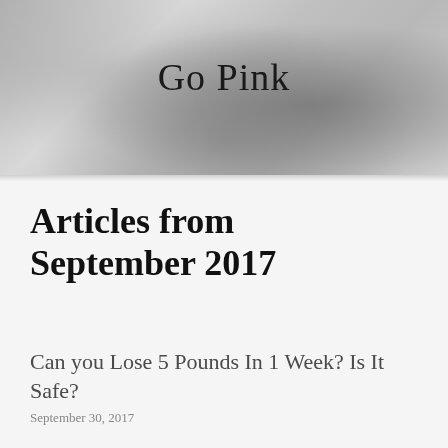[Figure (photo): Grayscale banner photo of a person wearing a knit sweater holding a camera, used as website header background]
Go Pink
Articles from September 2017
Can you Lose 5 Pounds In 1 Week? Is It Safe?
September 30, 2017